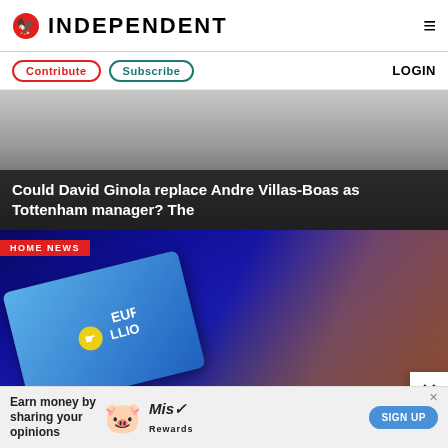INDEPENDENT
Contribute  Subscribe  LOGIN
[Figure (photo): Partial image of a person, appears to be a sports-related article photo]
Could David Ginola replace Andre Villas-Boas as Tottenham manager? The
HOME NEWS
[Figure (photo): EuroMillions lottery ticket being filled in on a dark blue surface, with a hand holding a pen]
Earn money by sharing your opinions
SIGN UP